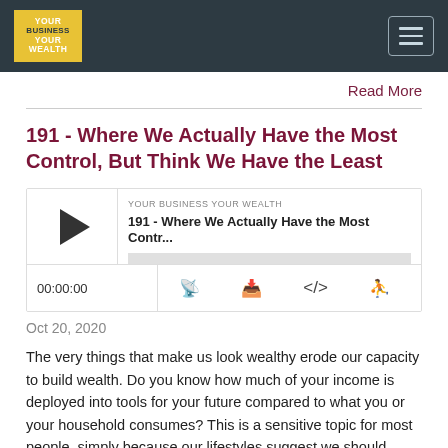YOUR BUSINESS YOUR WEALTH
Read More
191 - Where We Actually Have the Most Control, But Think We Have the Least
[Figure (other): Podcast audio player widget showing episode '191 - Where We Actually Have the Most Contr...' from YOUR BUSINESS YOUR WEALTH, with play button, progress bar, timestamp 00:00:00, and media control icons]
Oct 20, 2020
The very things that make us look wealthy erode our capacity to build wealth. Do you know how much of your income is deployed into tools for your future compared to what you or your household consumes? This is a sensitive topic for most people, simply because our lifestyles suggest we should always be spending. Paul and